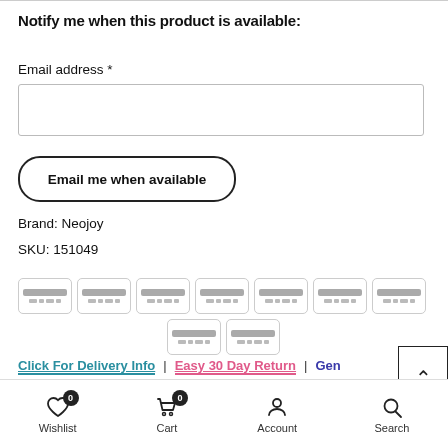Notify me when this product is available:
Email address *
Email me when available
Brand: Neojoy
SKU: 151049
[Figure (other): Payment method icons – 9 generic credit/debit card icons displayed in two rows]
Click For Delivery Info | Easy 30 Day Return | General FAQ
Wishlist 0 | Cart 0 | Account | Search